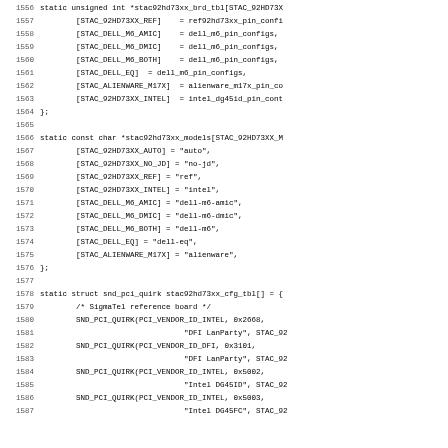[Figure (screenshot): Source code listing showing C code for audio driver configuration tables: stac92hd73xx_brd_tbl array with board configurations, stac92hd73xx_models array with model name strings, and stac92hd73xx_cfg_tbl array with PCI quirk entries. Line numbers 1556-1587 visible.]